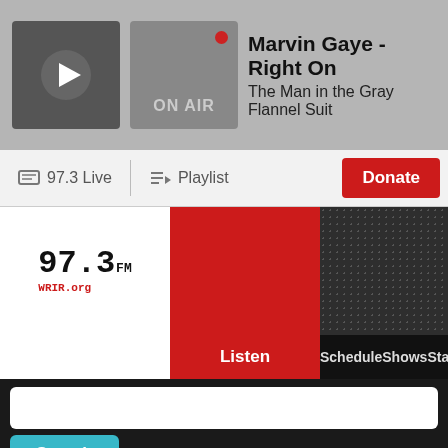Marvin Gaye - Right On | The Man in the Gray Flannel Suit | ON AIR
97.3 Live | Playlist
Donate
[Figure (screenshot): 97.3 WRIR radio station website screenshot showing logo, Listen/Schedule/Shows/Station navigation, search bar, and Search button]
Activate! presents:
Activate! March 24 – March 31
[Figure (photo): Partial photo of a person at a microphone]
Feedback?